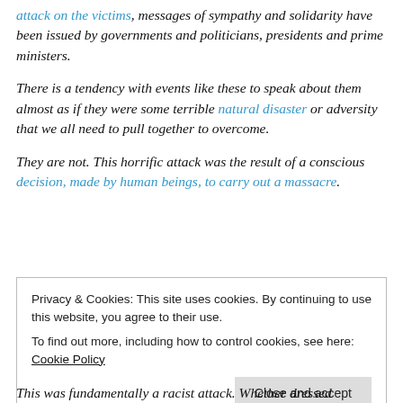attack on the victims, messages of sympathy and solidarity have been issued by governments and politicians, presidents and prime ministers.
There is a tendency with events like these to speak about them almost as if they were some terrible natural disaster or adversity that we all need to pull together to overcome.
They are not. This horrific attack was the result of a conscious decision, made by human beings, to carry out a massacre.
Privacy & Cookies: This site uses cookies. By continuing to use this website, you agree to their use. To find out more, including how to control cookies, see here: Cookie Policy
This was fundamentally a racist attack. Whether dressed